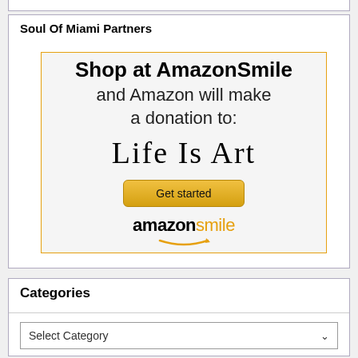Soul Of Miami Partners
[Figure (infographic): AmazonSmile advertisement: 'Shop at AmazonSmile and Amazon will make a donation to: Life Is Art' with a yellow 'Get started' button and the AmazonSmile logo below.]
Categories
Select Category